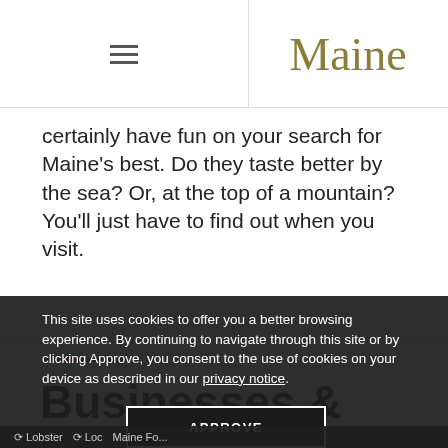Maine
certainly have fun on your search for Maine's best. Do they taste better by the sea? Or, at the top of a mountain? You'll just have to find out when you visit.
Businesses & Organizations
This site uses cookies to offer you a better browsing experience. By continuing to navigate through this site or by clicking Approve, you consent to the use of cookies on your device as described in our privacy notice.
APPROVE